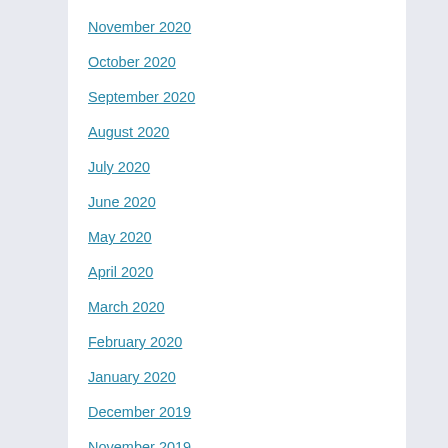November 2020
October 2020
September 2020
August 2020
July 2020
June 2020
May 2020
April 2020
March 2020
February 2020
January 2020
December 2019
November 2019
October 2019
September 2019
August 2019